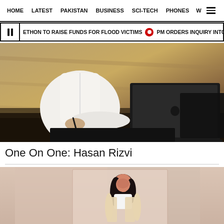HOME   LATEST   PAKISTAN   BUSINESS   SCI-TECH   PHONES   W   ☰
ETHON TO RAISE FUNDS FOR FLOOD VICTIMS   PM ORDERS INQUIRY INTO DAMA
[Figure (photo): Person in white traditional clothing sitting at a desk working on a MacBook laptop, with a stylus pen in hand, against a warm wooden background]
One On One: Hasan Rizvi
[Figure (photo): Young woman in white crop top and blazer with glasses, standing against a light pink/beige background]